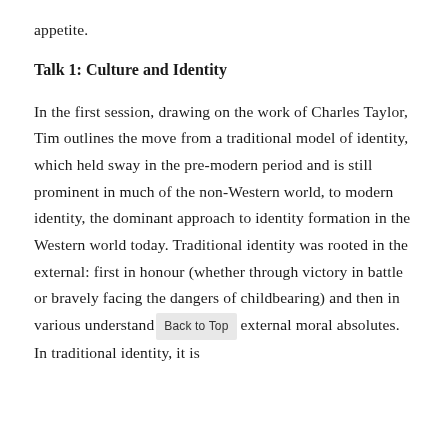appetite.
Talk 1: Culture and Identity
In the first session, drawing on the work of Charles Taylor, Tim outlines the move from a traditional model of identity, which held sway in the pre-modern period and is still prominent in much of the non-Western world, to modern identity, the dominant approach to identity formation in the Western world today. Traditional identity was rooted in the external: first in honour (whether through victory in battle or bravely facing the dangers of childbearing) and then in various understandings of external moral absolutes. In traditional identity, it is